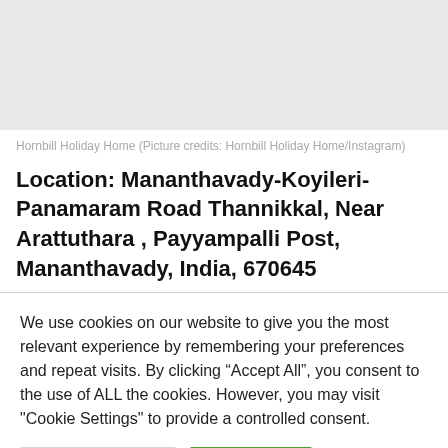[Figure (photo): Top image area showing Hornbill Holiday Home (gray placeholder area)]
Hornbill Holiday Home (Picture credits: Hornbill Holiday Home/Instagram)
Location: Mananthavady-Koyileri-Panamaram Road Thannikkal, Near Arattuthara , Payyampalli Post, Mananthavady, India, 670645
We use cookies on our website to give you the most relevant experience by remembering your preferences and repeat visits. By clicking “Accept All”, you consent to the use of ALL the cookies. However, you may visit "Cookie Settings" to provide a controlled consent.
Cookie Settings | Accept All